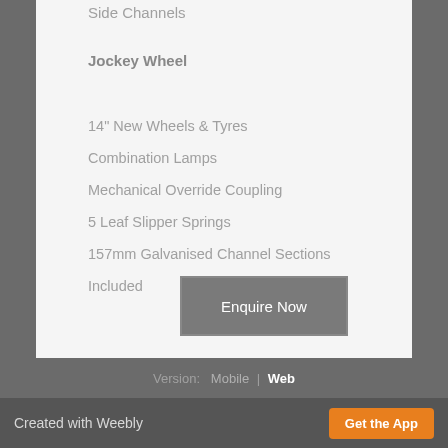Side Channels
Jockey Wheel
14" New Wheels & Tyres
Combination Lamps
Mechanical Override Coupling
5 Leaf Slipper Springs
157mm Galvanised Channel Sections
Included
Enquire Now
Version:  Mobile |  Web
Created with Weebly  Get the App